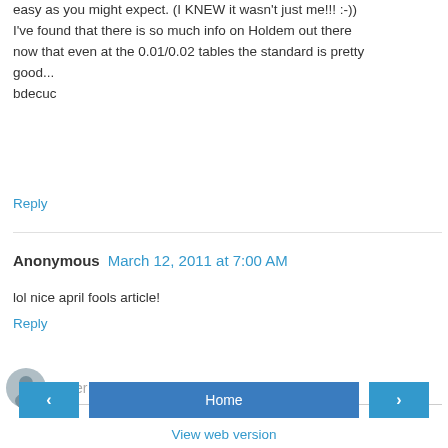easy as you might expect. (I KNEW it wasn't just me!!! :-)) I've found that there is so much info on Holdem out there now that even at the 0.01/0.02 tables the standard is pretty good...
bdecuc
Reply
Anonymous  March 12, 2011 at 7:00 AM
lol nice april fools article!
Reply
[Figure (other): Comment input area with avatar icon and 'Enter Comment' placeholder text field]
[Figure (other): Navigation bar with left arrow button, Home button, and right arrow button]
View web version